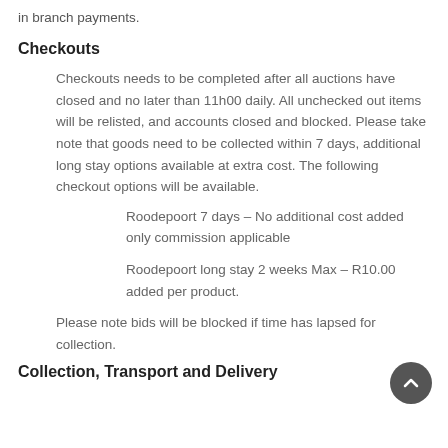in branch payments.
Checkouts
Checkouts needs to be completed after all auctions have closed and no later than 11h00 daily. All unchecked out items will be relisted, and accounts closed and blocked. Please take note that goods need to be collected within 7 days, additional long stay options available at extra cost. The following checkout options will be available.
Roodepoort 7 days – No additional cost added only commission applicable
Roodepoort long stay 2 weeks Max – R10.00 added per product.
Please note bids will be blocked if time has lapsed for collection.
Collection, Transport and Delivery